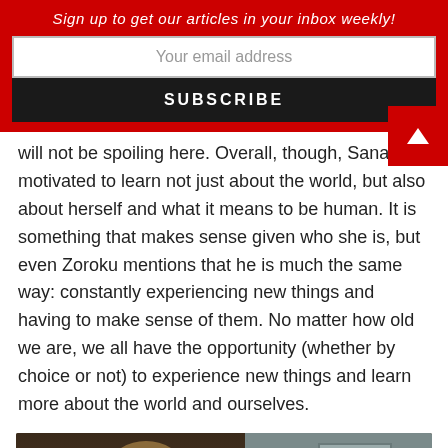Sign up to get our articles in your inbox weekly!
will not be spoiling here. Overall, though, Sana is motivated to learn not just about the world, but also about herself and what it means to be human. It is something that makes sense given who she is, but even Zoroku mentions that he is much the same way: constantly experiencing new things and having to make sense of them. No matter how old we are, we all have the opportunity (whether by choice or not) to experience new things and learn more about the world and ourselves.
[Figure (photo): Anime screenshot showing a character (Sana) in what appears to be a school or indoor hallway setting, with a door visible in the background.]